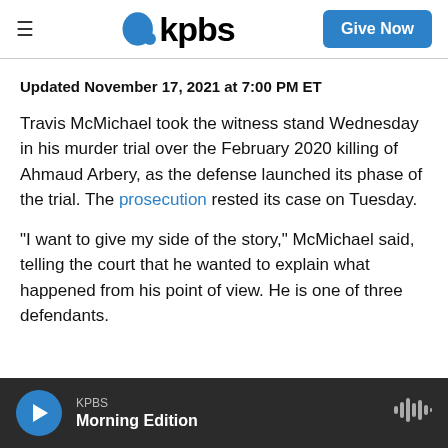kpbs | Give Now
Updated November 17, 2021 at 7:00 PM ET
Travis McMichael took the witness stand Wednesday in his murder trial over the February 2020 killing of Ahmaud Arbery, as the defense launched its phase of the trial. The prosecution rested its case on Tuesday.
"I want to give my side of the story," McMichael said, telling the court that he wanted to explain what happened from his point of view. He is one of three defendants.
KPBS Morning Edition